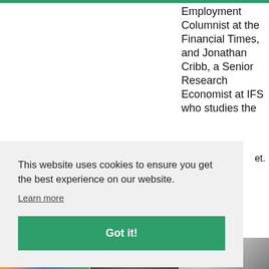Employment Columnist at the Financial Times, and Jonathan Cribb, a Senior Research Economist at IFS who studies the
et.
This website uses cookies to ensure you get the best experience on our website.
Learn more
Got it!
[Figure (photo): Three small thumbnail images at the bottom of the page: colorful circles/balls, a dark image, and an architectural/building image]